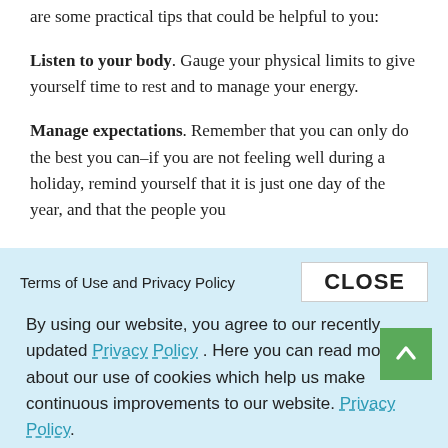are some practical tips that could be helpful to you:
Listen to your body. Gauge your physical limits to give yourself time to rest and to manage your energy.
Manage expectations. Remember that you can only do the best you can–if you are not feeling well during a holiday, remind yourself that it is just one day of the year, and that the people you
Terms of Use and Privacy Policy
CLOSE
By using our website, you agree to our recently updated Privacy Policy . Here you can read more about our use of cookies which help us make continuous improvements to our website. Privacy Policy.
would like their understanding. Since it is likely